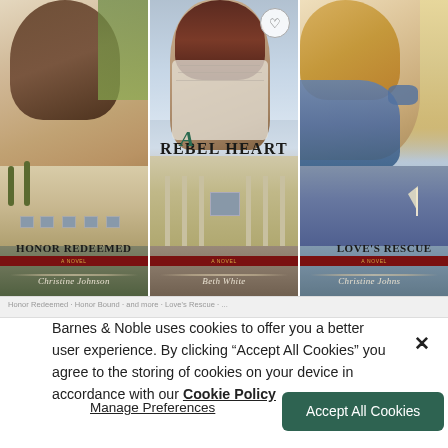[Figure (photo): Three historical romance novel book covers displayed side by side: 'Honor Redeemed' by Christine Johnson (left), 'A Rebel Heart' by Beth White (center, with heart icon), 'Love's Rescue' by Christine Johnson (right, partially visible)]
Honor Redeemed — Christine Johnson · A Rebel Heart — Beth White · Love's Rescue — Christine Johnson
Barnes & Noble uses cookies to offer you a better user experience. By clicking "Accept All Cookies" you agree to the storing of cookies on your device in accordance with our Cookie Policy
Manage Preferences
Accept All Cookies